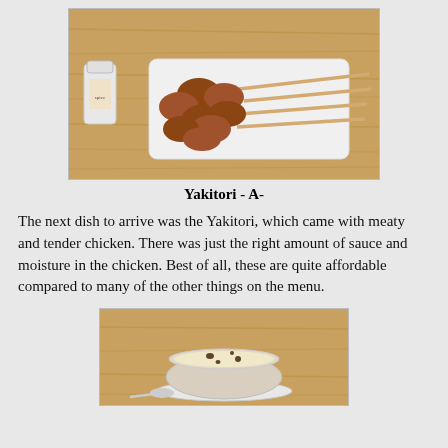[Figure (photo): Photo of yakitori (grilled chicken skewers) on a white rectangular plate on a wooden table, with a small seasoning jar beside it]
Yakitori - A-
The next dish to arrive was the Yakitori, which came with meaty and tender chicken. There was just the right amount of sauce and moisture in the chicken. Best of all, these are quite affordable compared to many of the other things on the menu.
[Figure (photo): Photo of a bowl of chawanmushi (Japanese steamed egg custard) on a saucer with a spoon, on a wooden table]